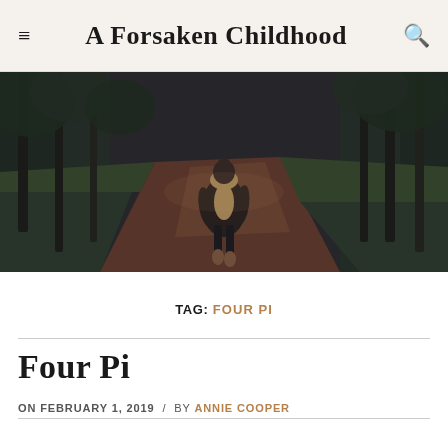A Forsaken Childhood
[Figure (photo): A child in a puffy brown jacket with fur-trimmed hood walks away down a forest dirt path, surrounded by dark trees and green undergrowth, moody and atmospheric lighting.]
TAG: FOUR PI
Four Pi
ON FEBRUARY 1, 2019 / BY ANNIE COOPER